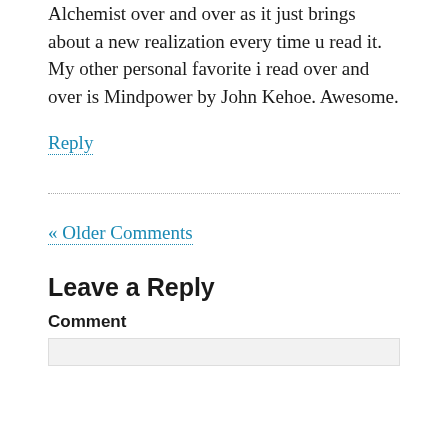Alchemist over and over as it just brings about a new realization every time u read it. My other personal favorite i read over and over is Mindpower by John Kehoe. Awesome.
Reply
« Older Comments
Leave a Reply
Comment